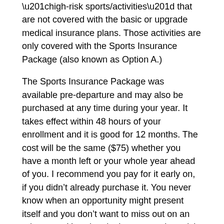“high-risk sports/activities” that are not covered with the basic or upgrade medical insurance plans. Those activities are only covered with the Sports Insurance Package (also known as Option A.)
The Sports Insurance Package was available pre-departure and may also be purchased at any time during your year. It takes effect within 48 hours of your enrollment and it is good for 12 months. The cost will be the same ($75) whether you have a month left or your whole year ahead of you. I recommend you pay for it early on, if you didn’t already purchase it. You never know when an opportunity might present itself and you don’t want to miss out on an adventure. You also don’t want to take a risk on getting injured and being responsible for the bill on your own.
Below is a partial list of sports that are only covered with the sports insurance package:
Football, Rugby, Scuba diving, Skiing, Wakeboarding...